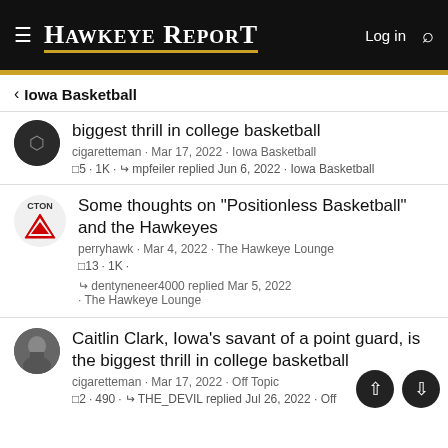HAWKEYE REPORT
Iowa Basketball
biggest thrill in college basketball
cigaretteman · Mar 17, 2022 · Iowa Basketball
5 · 1K · mpfeiler replied Jun 6, 2022 · Iowa Basketball
Some thoughts on "Positionless Basketball" and the Hawkeyes
perryhawk · Mar 4, 2022 · The Hawkeye Lounge
13 · 1K ·
dentyneneer4000 replied Mar 5, 2022 · The Hawkeye Lounge
Caitlin Clark, Iowa's savant of a point guard, is the biggest thrill in college basketball
cigaretteman · Mar 17, 2022 · Off Topic
2 · 490 · THE_DEVIL replied Jul 26, 2022 · Off